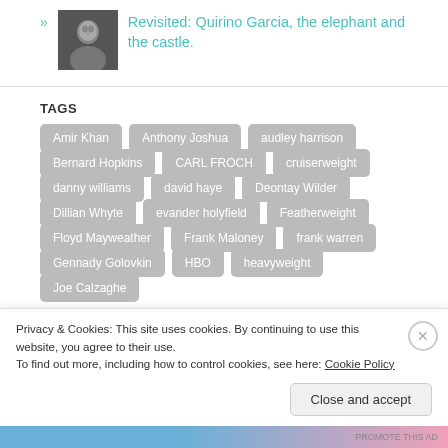[Figure (photo): Small black and white thumbnail photo of a person]
Revisited: Quirino Garcia, the elephant and the castle.
TAGS
Amir Khan
Anthony Joshua
audley harrison
Bernard Hopkins
CARL FROCH
cruiserweight
danny williams
david haye
Deontay Wilder
Dillian Whyte
evander holyfield
Featherweight
Floyd Mayweather
Frank Maloney
frank warren
Gennady Golovkin
HBO
heavyweight
Joe Calzaghe
Privacy & Cookies: This site uses cookies. By continuing to use this website, you agree to their use.
To find out more, including how to control cookies, see here: Cookie Policy
Close and accept